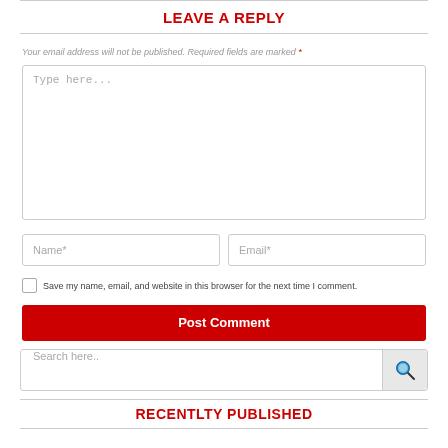LEAVE A REPLY
Your email address will not be published. Required fields are marked *
[Figure (screenshot): Comment text area input field with placeholder 'Type here...']
[Figure (screenshot): Two input fields: Name* and Email*]
Save my name, email, and website in this browser for the next time I comment.
[Figure (screenshot): Post Comment button in red]
[Figure (screenshot): Search input field with search icon button]
RECENTLTY PUBLISHED